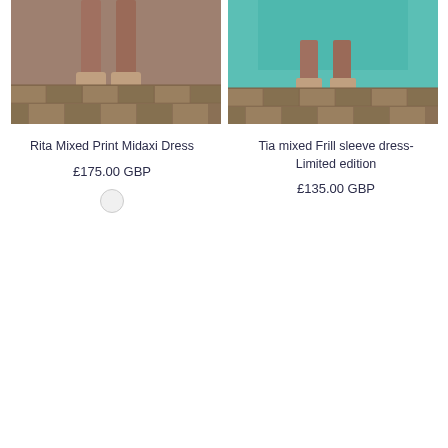[Figure (photo): Product photo of Rita Mixed Print Midaxi Dress, showing bottom portion of model on parquet floor background]
Rita Mixed Print Midaxi Dress
£175.00 GBP
[Figure (photo): Product photo of Tia mixed Frill sleeve dress - Limited edition, showing bottom portion of model in teal/turquoise dress on parquet floor background]
Tia mixed Frill sleeve dress-Limited edition
£135.00 GBP